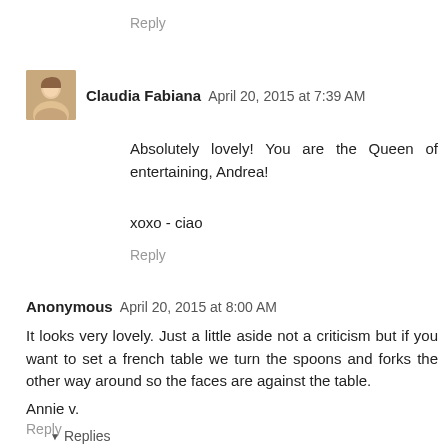Reply
Claudia Fabiana  April 20, 2015 at 7:39 AM
Absolutely lovely! You are the Queen of entertaining, Andrea!
xoxo - ciao
Reply
Anonymous  April 20, 2015 at 8:00 AM
It looks very lovely. Just a little aside not a criticism but if you want to set a french table we turn the spoons and forks the other way around so the faces are against the table.
Annie v.
Reply
▼ Replies